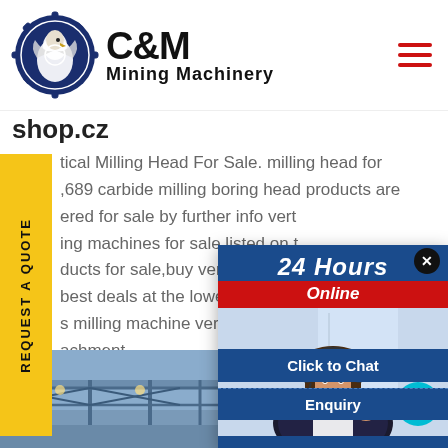[Figure (logo): C&M Mining Machinery logo with eagle in gear circle]
shop.cz
tical Milling Head For Sale. milling head for ,689 carbide milling boring head products are ered for sale by further info vert ing machines for sale listed on t ducts for sale,buy vertical mill p best deals at the lowest prices s milling machine vertical millin achment .
[Figure (photo): Customer service representative with headset, 24 Hours Online chat popup overlay on blue background]
[Figure (photo): Factory interior with industrial ceiling and lighting]